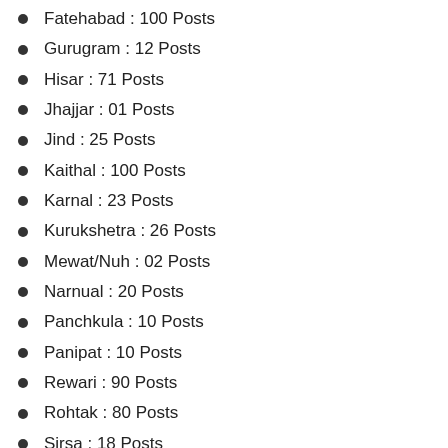Fatehabad : 100 Posts
Gurugram : 12 Posts
Hisar : 71 Posts
Jhajjar : 01 Posts
Jind : 25 Posts
Kaithal : 100 Posts
Karnal : 23 Posts
Kurukshetra : 26 Posts
Mewat/Nuh : 02 Posts
Narnual : 20 Posts
Panchkula : 10 Posts
Panipat : 10 Posts
Rewari : 90 Posts
Rohtak : 80 Posts
Sirsa : 18 Posts
Yamunanagar : 15 Posts